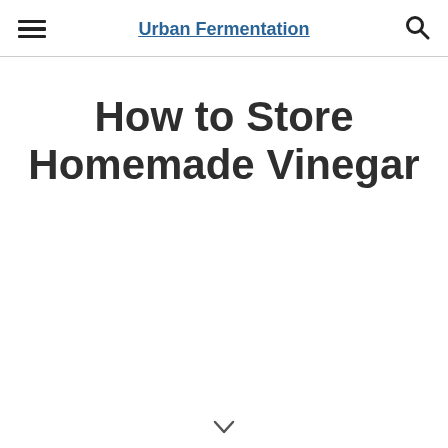Urban Fermentation
How to Store Homemade Vinegar